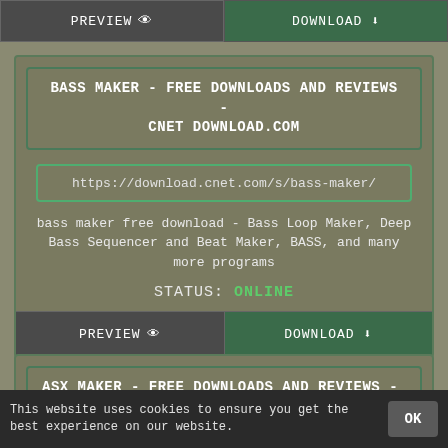[Figure (screenshot): Top partial button bar with PREVIEW and DOWNLOAD buttons]
BASS MAKER - FREE DOWNLOADS AND REVIEWS - CNET DOWNLOAD.COM
https://download.cnet.com/s/bass-maker/
bass maker free download - Bass Loop Maker, Deep Bass Sequencer and Beat Maker, BASS, and many more programs
STATUS: ONLINE
[Figure (screenshot): PREVIEW and DOWNLOAD button row for bass maker card]
ASX MAKER - FREE DOWNLOADS AND REVIEWS - CNET DOWNLOAD.COM
This website uses cookies to ensure you get the best experience on our website.